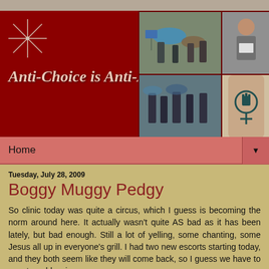[Figure (illustration): Blog header banner with dark red background, decorative star/asterisk graphics, italic script title 'Anti-Choice is Anti-Awesome', and a photo collage on the right showing protest scenes and a tattoo]
Home ▼
Tuesday, July 28, 2009
Boggy Muggy Pedgy
So clinic today was quite a circus, which I guess is becoming the norm around here. It actually wasn't quite AS bad as it has been lately, but bad enough. Still a lot of yelling, some chanting, some Jesus all up in everyone's grill. I had two new escorts starting today, and they both seem like they will come back, so I guess we have to count our blessings.